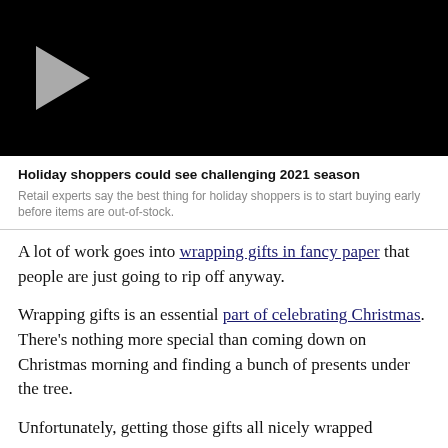[Figure (screenshot): Black video player thumbnail with a gray play button triangle on the left side]
Holiday shoppers could see challenging 2021 season
Retail experts say the best thing for holiday shoppers is to start buying early before items are out-of-stock.
A lot of work goes into wrapping gifts in fancy paper that people are just going to rip off anyway.
Wrapping gifts is an essential part of celebrating Christmas. There’s nothing more special than coming down on Christmas morning and finding a bunch of presents under the tree.
Unfortunately, getting those gifts all nicely wrapped